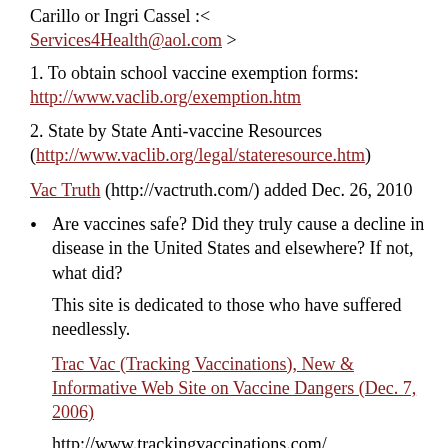Carillo or Ingri Cassel :< Services4Health@aol.com >
1. To obtain school vaccine exemption forms: http://www.vaclib.org/exemption.htm
2. State by State Anti-vaccine Resources (http://www.vaclib.org/legal/stateresource.htm)
Vac Truth (http://vactruth.com/) added Dec. 26, 2010
Are vaccines safe? Did they truly cause a decline in disease in the United States and elsewhere? If not, what did?
This site is dedicated to those who have suffered needlessly.
Trac Vac (Tracking Vaccinations), New & Informative Web Site on Vaccine Dangers (Dec. 7, 2006)
http://www.trackingvaccinations.com/
Extensive new web site with loads of info on